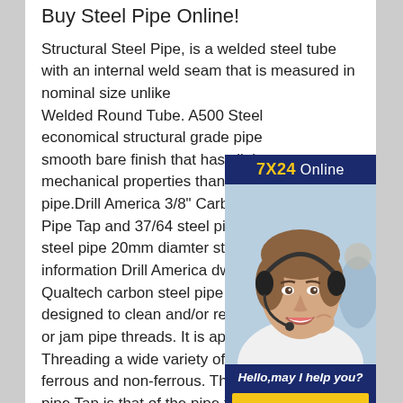Buy Steel Pipe Online!
Structural Steel Pipe, is a welded steel tube with an internal weld seam that is measured in nominal size unlike Welded Round Tube. A500 Steel economical structural grade pipe smooth bare finish that has slight mechanical properties than stand pipe.Drill America 3/8" Carbon St Pipe Tap and 37/64 steel pipe bl steel pipe 20mm diamter steel pi information Drill America dwtpt Se Qualtech carbon steel pipe Tap is designed to clean and/or re-thread damaged or jam pipe threads. It is appropriate for Threading a wide variety of materials both ferrous and non-ferrous. The nominal size of a pipe Tap is that of the pipe fitting to be tapped, not the actual
[Figure (photo): Customer service representative with headset, smiling. Advertisement box with '7X24 Online' header, photo of representative, text 'Hello,may I help you?' and 'Get Latest Price' button.]